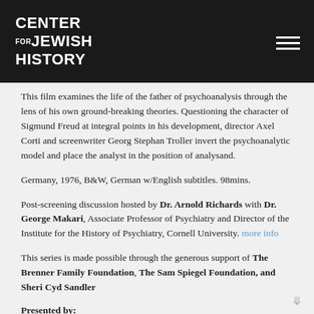CENTER FOR JEWISH HISTORY
This film examines the life of the father of psychoanalysis through the lens of his own ground-breaking theories. Questioning the character of Sigmund Freud at integral points in his development, director Axel Corti and screenwriter Georg Stephan Troller invert the psychoanalytic model and place the analyst in the position of analysand.
Germany, 1976, B&W, German w/English subtitles. 98mins.
Post-screening discussion hosted by Dr. Arnold Richards with Dr. George Makari, Associate Professor of Psychiatry and Director of the Institute for the History of Psychiatry, Cornell University. more info
This series is made possible through the generous support of The Brenner Family Foundation, The Sam Spiegel Foundation, and Sheri Cyd Sandler
Presented by: